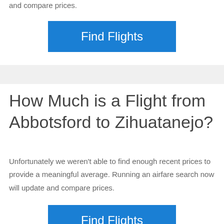and compare prices.
[Figure (other): Blue 'Find Flights' button]
How Much is a Flight from Abbotsford to Zihuatanejo?
Unfortunately we weren't able to find enough recent prices to provide a meaningful average. Running an airfare search now will update and compare prices.
[Figure (other): Blue 'Find Flights' button (partially visible at bottom)]